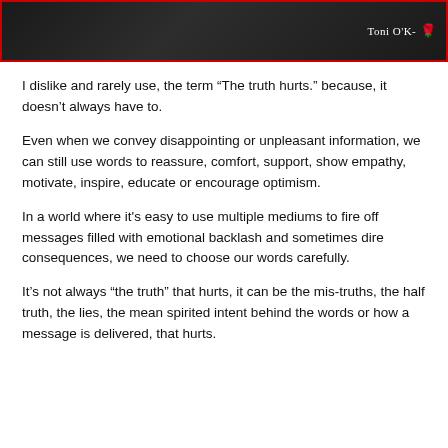[Figure (photo): Dark banner image with text 'Toni O'K-' and a red rose emoji on the right side, framed with a red border.]
I dislike and rarely use, the term “The truth hurts.” because, it doesn’t always have to.
Even when we convey disappointing or unpleasant information, we can still use words to reassure, comfort, support, show empathy, motivate, inspire, educate or encourage optimism.
In a world where it’s easy to use multiple mediums to fire off messages filled with emotional backlash and sometimes dire consequences, we need to choose our words carefully.
It’s not always “the truth” that hurts, it can be the mis-truths, the half truth, the lies, the mean spirited intent behind the words or how a message is delivered, that hurts.